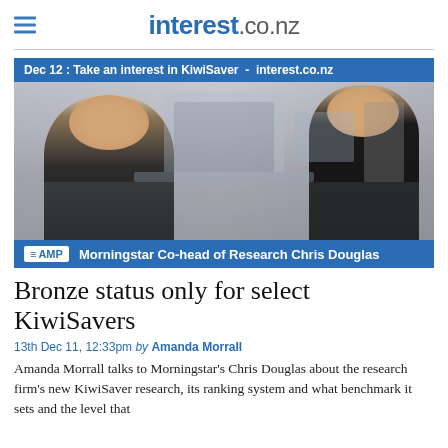interest.co.nz
[Figure (screenshot): Video thumbnail showing two people in an office setting having an interview. Top blue bar reads: 'Dec 12 : Take an interest in KiwiSaver - interest.co.nz'. Bottom blue bar shows AMP logo and text 'Morningstar Co-head of Research Chris Douglas'.]
Bronze status only for select KiwiSavers
13th Dec 11, 12:33pm by Amanda Morrall
Amanda Morrall talks to Morningstar's Chris Douglas about the research firm's new KiwiSaver research, its ranking system and what benchmark it sets and the level that